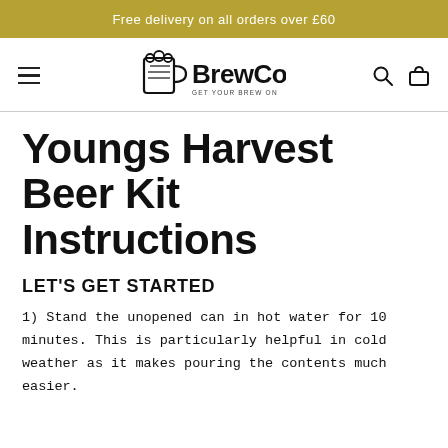Free delivery on all orders over £60
[Figure (logo): BrewCo logo with beer mug icon and tagline GET YOUR BREW ON]
Youngs Harvest Beer Kit Instructions
LET'S GET STARTED
1) Stand the unopened can in hot water for 10 minutes. This is particularly helpful in cold weather as it makes pouring the contents much easier.